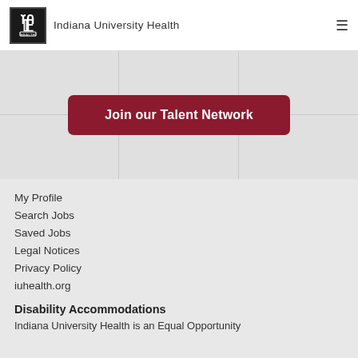Indiana University Health
[Figure (screenshot): Join our Talent Network button on a grey grid background]
My Profile
Search Jobs
Saved Jobs
Legal Notices
Privacy Policy
iuhealth.org
Disability Accommodations
Indiana University Health is an Equal Opportunity